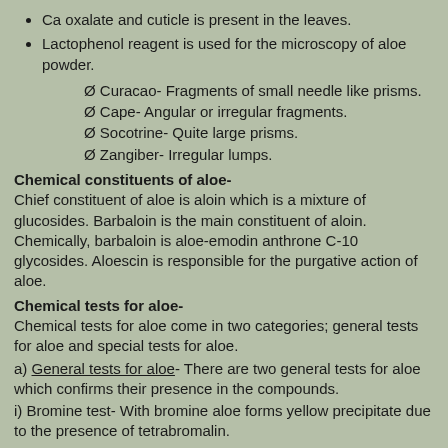Ca oxalate and cuticle is present in the leaves.
Lactophenol reagent is used for the microscopy of aloe powder.
Ø Curacao- Fragments of small needle like prisms.
Ø Cape- Angular or irregular fragments.
Ø Socotrine- Quite large prisms.
Ø Zangiber- Irregular lumps.
Chemical constituents of aloe-
Chief constituent of aloe is aloin which is a mixture of glucosides. Barbaloin is the main constituent of aloin. Chemically, barbaloin is aloe-emodin anthrone C-10 glycosides. Aloescin is responsible for the purgative action of aloe.
Chemical tests for aloe-
Chemical tests for aloe come in two categories; general tests for aloe and special tests for aloe.
a) General tests for aloe- There are two general tests for aloe which confirms their presence in the compounds.
i) Bromine test- With bromine aloe forms yellow precipitate due to the presence of tetrabromalin.